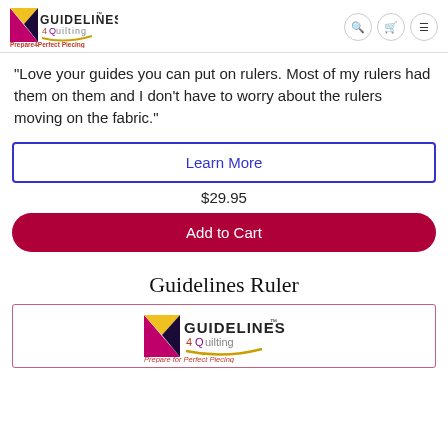Guidelines 4 Quilting — Prepare4Perfect Piecing
"Love your guides you can put on rulers. Most of my rulers had them on them and I don't have to worry about the rulers moving on the fabric."
Learn More
$29.95
Add to Cart
Guidelines Ruler
[Figure (logo): Guidelines 4 Quilting logo with tagline 'Prepare for Perfect Piecing']